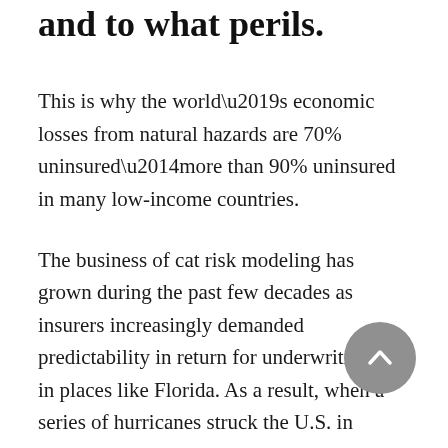and to what perils.
This is why the world’s economic losses from natural hazards are 70% uninsured—more than 90% uninsured in many low-income countries.
The business of cat risk modeling has grown during the past few decades as insurers increasingly demanded predictability in return for underwriting risk in places like Florida. As a result, when a series of hurricanes struck the U.S. in August and September, insurers were able to tap into a staggering wealth of real-time information about possible losses under various scenarios.
Multiple times a day, as Tropical Storm Harvey and